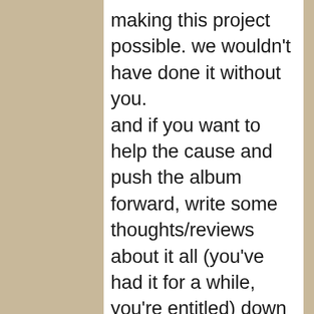making this project possible. we wouldn't have done it without you. and if you want to help the cause and push the album forward, write some thoughts/reviews about it all (you've had it for a while, you're entitled) down in the comments of